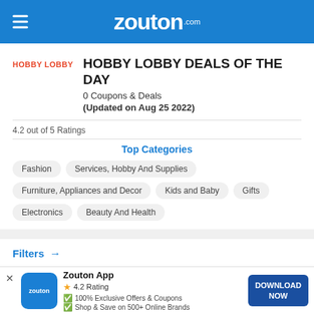zouton.com
HOBBY LOBBY DEALS OF THE DAY
0 Coupons & Deals
(Updated on Aug 25 2022)
4.2 out of 5 Ratings
Top Categories
Fashion
Services, Hobby And Supplies
Furniture, Appliances and Decor
Kids and Baby
Gifts
Electronics
Beauty And Health
Filters →
Sorry, No Deals For Right Now
Zouton App
4.2 Rating
100% Exclusive Offers & Coupons
Shop & Save on 500+ Online Brands